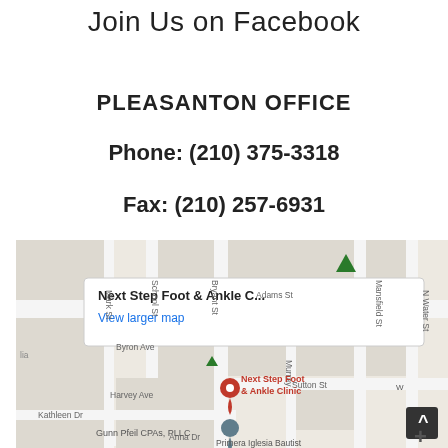Join Us on Facebook
PLEASANTON OFFICE
Phone: (210) 375-3318
Fax: (210) 257-6931
[Figure (map): Google Maps embed showing Next Step Foot & Ankle Clinic location in Pleasanton, with streets including Byron Ave, Harvey Ave, Kathleen Dr, School St, Mark St, Adams St, Mansfield St, N Water St, Sutton St, Murray St, Anna Dr. Map tooltip shows 'Next Step Foot & Ankle C...' and 'View larger map' link. Red marker labeled 'Next Step Foot & Ankle Clinic', grey marker below labeled 'Gunn Pfeil CPAs, PLLC', 'Primera Iglesia Bautist' text visible, green triangle navigation marker at top.]